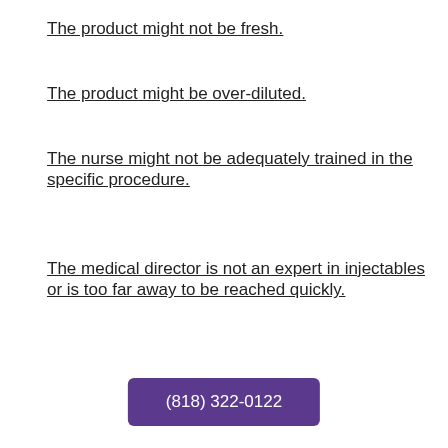The product might not be fresh.
The product might be over-diluted.
The nurse might not be adequately trained in the specific procedure.
The medical director is not an expert in injectables or is too far away to be reached quickly.
(818) 322-0122